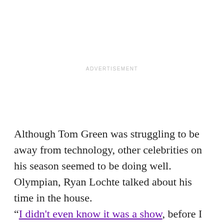ADVERTISEMENT
Although Tom Green was struggling to be away from technology, other celebrities on his season seemed to be doing well. Olympian, Ryan Lochte talked about his time in the house.
“I didn’t even know it was a show, before I